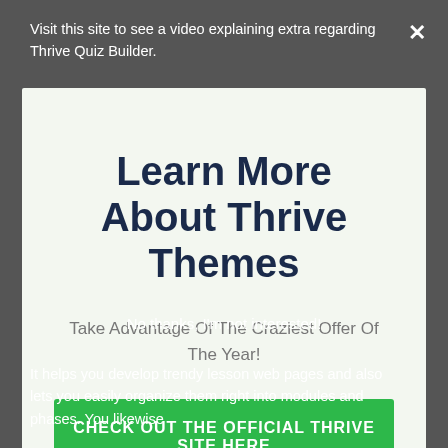Visit this site to see a video explaining extra regarding Thrive Quiz Builder.
Learn More About Thrive Themes
Take Advantage Of The Craziest Offer Of The Year!
CHECK OUT THE OFFICIAL THRIVE SITE HERE
No thanks, I'm not interested!
It helps you develop trendy lesson web pages and also lets you easily organize them right into modules and phases. You likewise